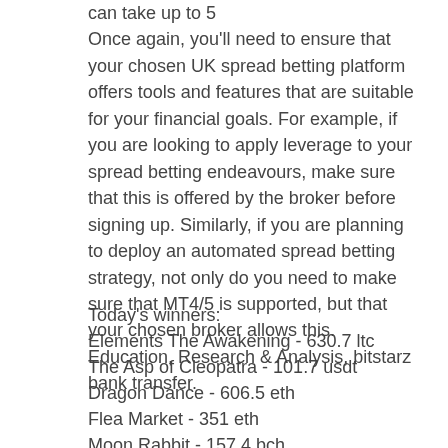can take up to 5
Once again, you'll need to ensure that your chosen UK spread betting platform offers tools and features that are suitable for your financial goals. For example, if you are looking to apply leverage to your spread betting endeavours, make sure that this is offered by the broker before signing up. Similarly, if you are planning to deploy an automated spread betting strategy, not only do you need to make sure that MT4/5 is supported, but that your chosen broker allows this. Education, Research & Analysis, bitstarz bank transfer.
Today's winners:
Elements The Awakening - 630.7 ltc
The Asp of Cleopatra - 101.7 usdt
Dragon Dance - 606.5 eth
Flea Market - 351 eth
Moon Rabbit - 157.4 bch
Spectra - 320.2 bch